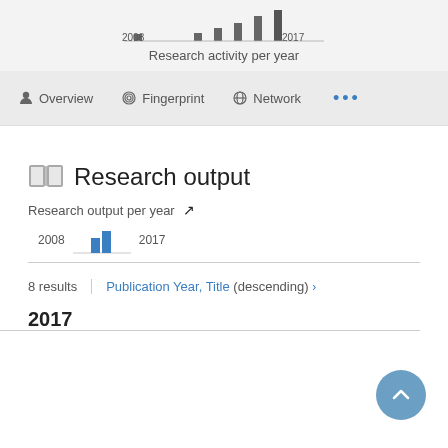[Figure (histogram): Research activity per year]
Research activity per year
Overview  Fingerprint  Network  ...
Research output
Research output per year
[Figure (bar-chart): Research output per year]
8 results  Publication Year, Title (descending) >
2017